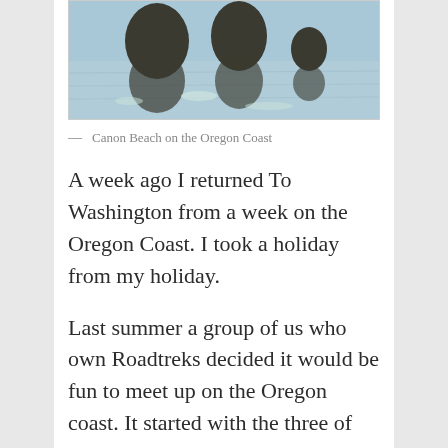[Figure (photo): Reflection of rock formations in shallow water at Canon Beach on the Oregon Coast]
— Canon Beach on the Oregon Coast
A week ago I returned To Washington from a week on the Oregon Coast. I took a holiday from my holiday.
Last summer a group of us who own Roadtreks decided it would be fun to meet up on the Oregon coast. It started with the three of us, Mary,